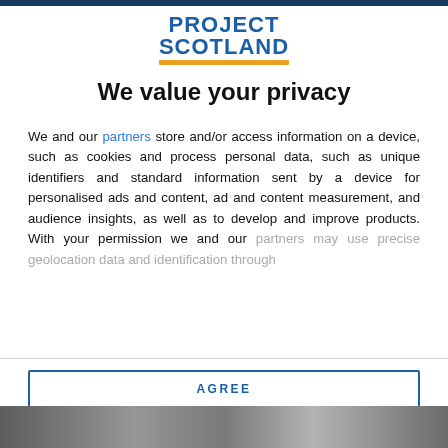[Figure (logo): Project Scotland logo with bold blue text and orange underline bar]
We value your privacy
We and our partners store and/or access information on a device, such as cookies and process personal data, such as unique identifiers and standard information sent by a device for personalised ads and content, ad and content measurement, and audience insights, as well as to develop and improve products. With your permission we and our partners may use precise geolocation data and identification through
AGREE
MORE OPTIONS
DISAGREE
[Figure (photo): Partially visible background image at the bottom of the page]